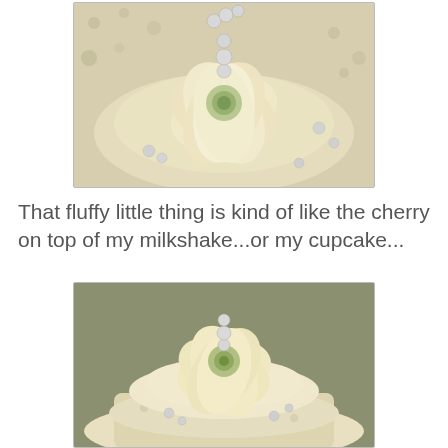[Figure (photo): Close-up photo of a decorative fabric flower (cream/ivory colored petals) with pearl beads on a lace background, shot from above.]
That fluffy little thing is kind of like the cherry on top of my milkshake...or my cupcake...
[Figure (photo): Photo of a decorative cream/ivory fabric flower with pearl beads on top of a lace-covered object, photographed from a slightly lower angle showing more of the decorated piece.]